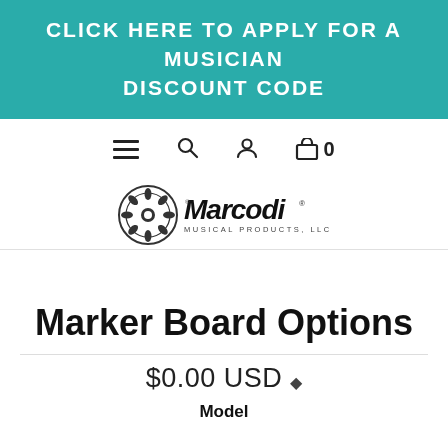CLICK HERE TO APPLY FOR A MUSICIAN DISCOUNT CODE
[Figure (logo): Marcodi Musical Products, LLC logo with circular emblem]
Marker Board Options
$0.00 USD ◆
Model